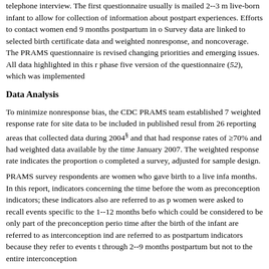telephone interview. The first questionnaire usually is mailed 2--3 m live-born infant to allow for collection of information about postpart experiences. Efforts to contact women end 9 months postpartum in o Survey data are linked to selected birth certificate data and weighted nonresponse, and noncoverage. The PRAMS questionnaire is revised changing priorities and emerging issues. All data highlighted in this r phase five version of the questionnaire (52), which was implemented
Data Analysis
To minimize nonresponse bias, the CDC PRAMS team established 7 weighted response rate for site data to be included in published resul from 26 reporting areas that collected data during 2004§ and that had response rates of ≥70% and had weighted data available by the time January 2007. The weighted response rate indicates the proportion o completed a survey, adjusted for sample design.
PRAMS survey respondents are women who gave birth to a live infa months. In this report, indicators concerning the time before the wom as preconception indicators; these indicators also are referred to as p women were asked to recall events specific to the 1--12 months befo which could be considered to be only part of the preconception perio time after the birth of the infant are referred to as interconception ind are referred to as postpartum indicators because they refer to events t through 2--9 months postpartum but not to the entire interconception